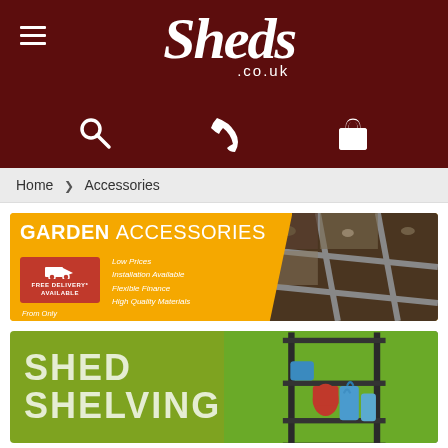Sheds.co.uk — site header with hamburger menu, logo, search, phone, and cart icons
Home > Accessories
[Figure (infographic): Garden Accessories promotional banner with yellow background, red free delivery badge, feature list (Low Prices, Installation Available, Flexible Finance, High Quality Materials), and photo of garden accessories. Text: GARDEN ACCESSORIES, From Only]
[Figure (infographic): Shed Shelving promotional banner with olive green background and photo of metal shelving unit with containers. Text: SHED SHELVING]